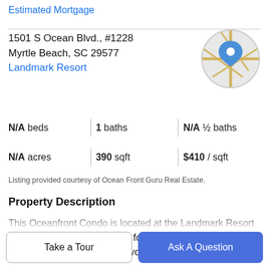Estimated Mortgage
1501 S Ocean Blvd., #1228
Myrtle Beach, SC 29577
Landmark Resort
[Figure (map): Circular map thumbnail with a blue location pin marker on road map]
N/A beds | 1 baths | N/A ½ baths
N/A acres | 390 sqft | $410 / sqft
Listing provided courtesy of Ocean Front Guru Real Estate.
Property Description
This Oceanfront Condo is located at the Landmark Resort and is fully furnished; perfect for any vacation or a night of relaxing. Enjoy breakfast on your private balcony, while
Take a Tour
Ask A Question